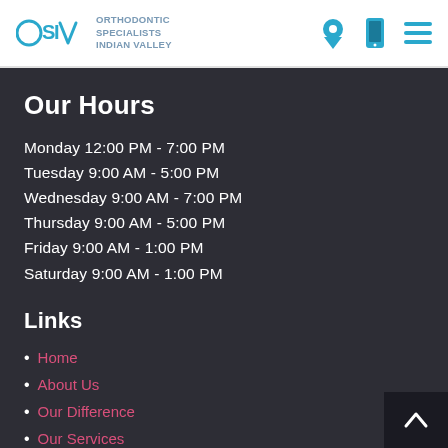OSIV ORTHODONTIC SPECIALISTS INDIAN VALLEY
Our Hours
Monday 12:00 PM - 7:00 PM
Tuesday 9:00 AM - 5:00 PM
Wednesday 9:00 AM - 7:00 PM
Thursday 9:00 AM - 5:00 PM
Friday 9:00 AM - 1:00 PM
Saturday 9:00 AM - 1:00 PM
Links
Home
About Us
Our Difference
Our Services
New Patients